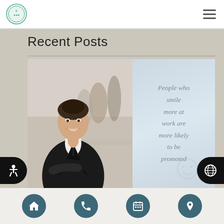Logo and navigation header
Recent Posts
[Figure (photo): Split image: left side shows a smiling businesswoman in a black suit with arms crossed, with blurred office meeting background; right side shows light blue background with italic text quote: 'People who smile more at work are more likely to be promoted']
Navigation bar with home, phone, calendar, and location icons; accessibility and globe floating buttons